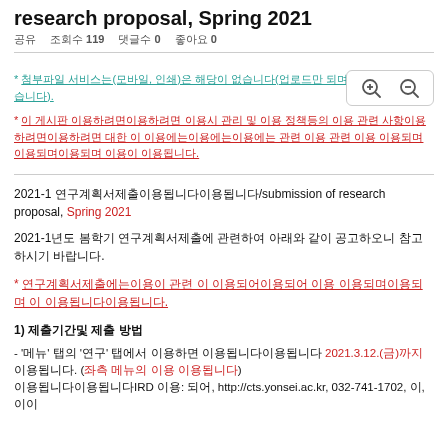research proposal, Spring 2021
조회수 119  댓글수 0  좋아요 0
* 첨부파일 서비스는(모바일, 인쇄)은 해당이 없습니다(업로드만 되며만 해당사항이 없습니다).
* 이 게시판 이용하려면이용하려면 이용시 관리 및 이용 정책등의 이용 관련 사항이용하려면이용하려면 대한 이 이용에는이용에는이용에는 관련 이용 관련 이용 이용되며이용되며이용되며 이용이 이용됩니다.
2021-1 연구계획서제출/submission of research proposal, Spring 2021
2021-1년도 봄학기 연구계획서제출에 관련하여 아래와 같이 공고하오니 참고하시기 바랍니다.
* 연구계획서제출에는이용이 관련 이 이용되어이용되어 이용 이용되며이용되며 이 이용됩니다이용됩니다.
1) 제출기간및 제출 방법
- '메뉴' 탭의 '연구' 탭에서 이용하면 이용됩니다이용됩니다 2021.3.12.(금)까지 이용됩니다. (좌측 메뉴의 이용 이용됩니다)
이용됩니다이용됩니다IRD 이용: 되어, http://cts.yonsei.ac.kr, 032-741-1702, 이, 이이